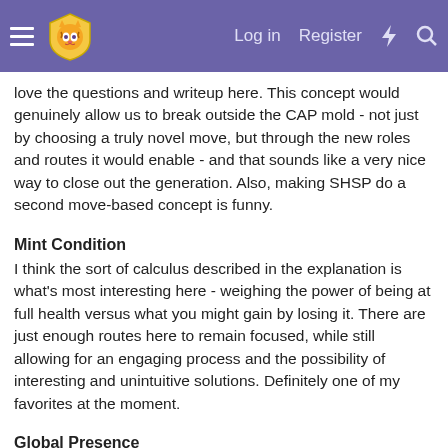Log in  Register
love the questions and writeup here. This concept would genuinely allow us to break outside the CAP mold - not just by choosing a truly novel move, but through the new roles and routes it would enable - and that sounds like a very nice way to close out the generation. Also, making SHSP do a second move-based concept is funny.
Mint Condition
I think the sort of calculus described in the explanation is what's most interesting here - weighing the power of being at full health versus what you might gain by losing it. There are just enough routes here to remain focused, while still allowing for an engaging process and the possibility of interesting and unintuitive solutions. Definitely one of my favorites at the moment.
Global Presence
I sympathize with comments about this concept being limited but it's still very cool to me - it feels like one of the more